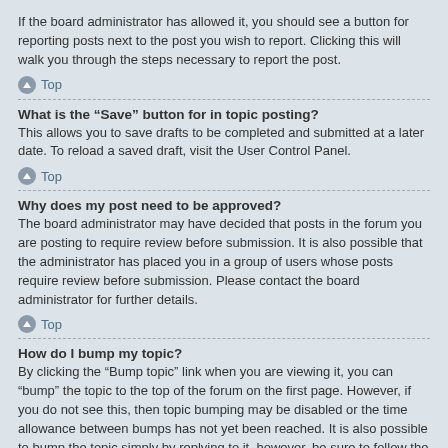If the board administrator has allowed it, you should see a button for reporting posts next to the post you wish to report. Clicking this will walk you through the steps necessary to report the post.
Top
What is the “Save” button for in topic posting?
This allows you to save drafts to be completed and submitted at a later date. To reload a saved draft, visit the User Control Panel.
Top
Why does my post need to be approved?
The board administrator may have decided that posts in the forum you are posting to require review before submission. It is also possible that the administrator has placed you in a group of users whose posts require review before submission. Please contact the board administrator for further details.
Top
How do I bump my topic?
By clicking the “Bump topic” link when you are viewing it, you can “bump” the topic to the top of the forum on the first page. However, if you do not see this, then topic bumping may be disabled or the time allowance between bumps has not yet been reached. It is also possible to bump the topic simply by replying to it, however, be sure to follow the board rules when doing so.